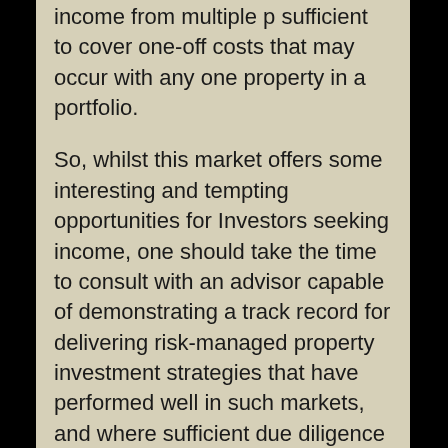income from multiple p sufficient to cover one-off costs that may occur with any one property in a portfolio.
So, whilst this market offers some interesting and tempting opportunities for Investors seeking income, one should take the time to consult with an advisor capable of demonstrating a track record for delivering risk-managed property investment strategies that have performed well in such markets, and where sufficient due diligence is available I order properly asses the inherent risks associated with real estate investment including asset risk, location risk, management/operation risk and counterparty risk.